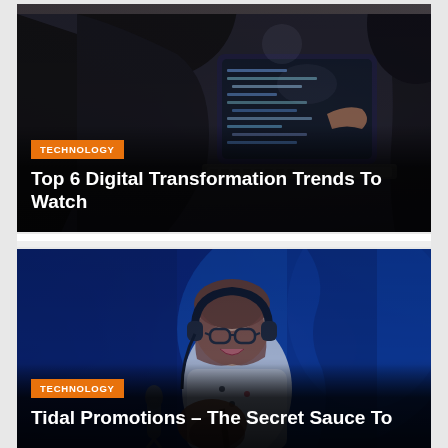[Figure (photo): Two women looking at a laptop screen showing code, viewed from behind, dark background]
TECHNOLOGY
Top 6 Digital Transformation Trends To Watch
[Figure (photo): A bearded man with headphones and glasses smiling while playing guitar in a blue-lit studio environment]
TECHNOLOGY
Tidal Promotions – The Secret Sauce To